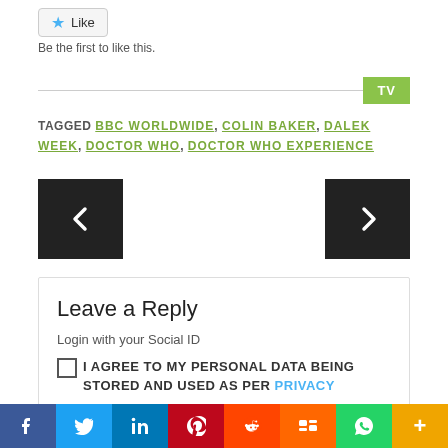Like
Be the first to like this.
TV
TAGGED BBC WORLDWIDE, COLIN BAKER, DALEK WEEK, DOCTOR WHO, DOCTOR WHO EXPERIENCE
[Figure (other): Left navigation arrow button (dark square with white left chevron)]
[Figure (other): Right navigation arrow button (dark square with white right chevron)]
Leave a Reply
Login with your Social ID
I AGREE TO MY PERSONAL DATA BEING STORED AND USED AS PER PRIVACY
[Figure (infographic): Social share bar with Facebook, Twitter, LinkedIn, Pinterest, Reddit, Mix, WhatsApp, More buttons]